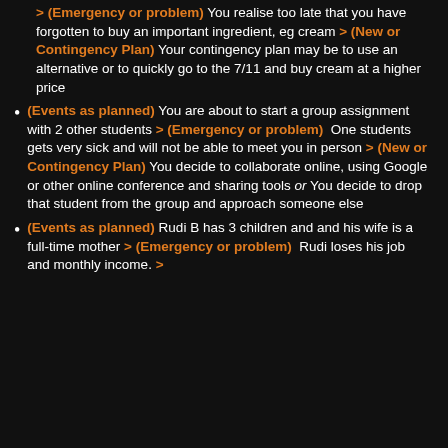> (Emergency or problem) You realise too late that you have forgotten to buy an important ingredient, eg cream > (New or Contingency Plan) Your contingency plan may be to use an alternative or to quickly go to the 7/11 and buy cream at a higher price
(Events as planned) You are about to start a group assignment with 2 other students > (Emergency or problem) One students gets very sick and will not be able to meet you in person > (New or Contingency Plan) You decide to collaborate online, using Google or other online conference and sharing tools or You decide to drop that student from the group and approach someone else
(Events as planned) Rudi B has 3 children and and his wife is a full-time mother > (Emergency or problem) Rudi loses his job and monthly income. >